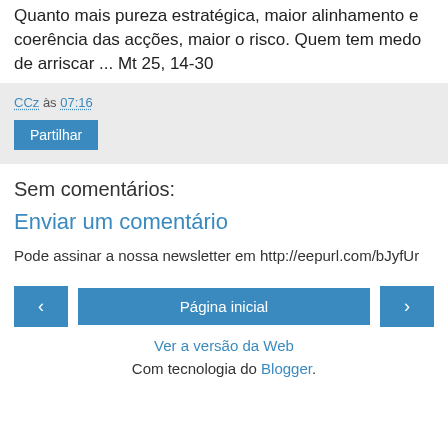Quanto mais pureza estratégica, maior alinhamento e coerência das acções, maior o risco. Quem tem medo de arriscar ... Mt 25, 14-30
CCz às 07:16
Partilhar
Sem comentários:
Enviar um comentário
Pode assinar a nossa newsletter em http://eepurl.com/bJyfUr
‹  Página inicial  ›
Ver a versão da Web
Com tecnologia do Blogger.